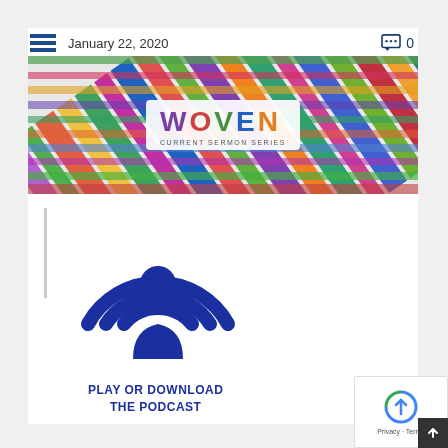January 22, 2020  0
[Figure (photo): Colorful woven threads/embroidery floss in multiple colors with a white label reading WOVEN - CURRENT SERMON SERIES]
[Figure (illustration): Dark blue podcast icon (person with signal waves) with text PLAY OR DOWNLOAD THE PODCAST below it]